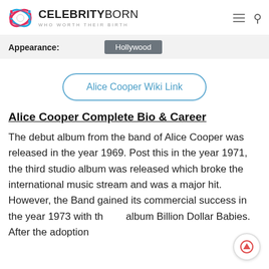CELEBRITYBORN — WHO WORTH THEIR BIRTH
| Appearance: | Hollywood |
| --- | --- |
[Figure (other): Alice Cooper Wiki Link button — rounded rectangle border with blue text link]
Alice Cooper Complete Bio & Career
The debut album from the band of Alice Cooper was released in the year 1969. Post this in the year 1971, the third studio album was released which broke the international music stream and was a major hit. However, the Band gained its commercial success in the year 1973 with the album Billion Dollar Babies. After the adoption